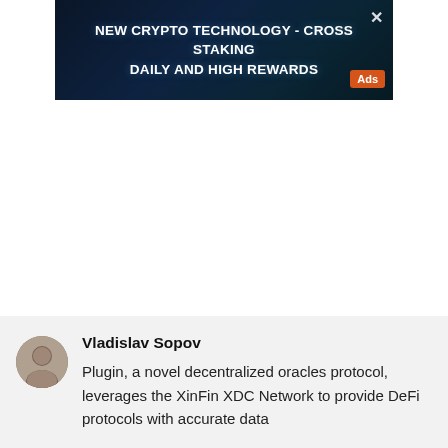[Figure (other): Dark blue/teal crypto advertisement banner reading 'NEW CRYPTO TECHNOLOGY - CROSS STAKING DAILY AND HIGH REWARDS' with an 'Ads' badge in orange and a close X button]
Vladislav Sopov
Plugin, a novel decentralized oracles protocol, leverages the XinFin XDC Network to provide DeFi protocols with accurate data